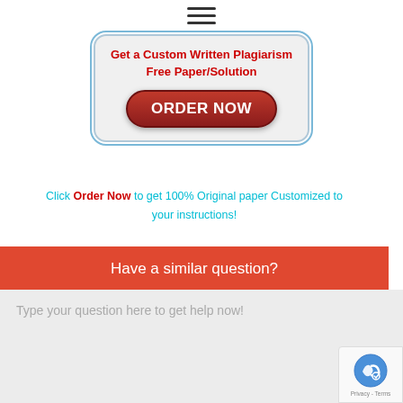[Figure (other): Hamburger/menu icon with three horizontal lines]
[Figure (infographic): Advertisement box with rounded rectangle border, red text 'Get a Custom Written Plagiarism Free Paper/Solution' and a dark red ORDER NOW button]
Click Order Now to get 100% Original paper Customized to your instructions!
Have a similar question?
Type your question here to get help now!
[Figure (logo): reCAPTCHA logo with Privacy - Terms text]